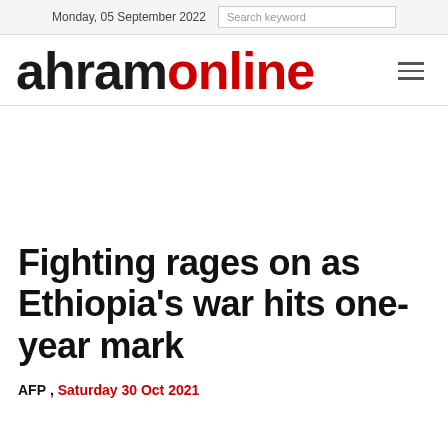Monday, 05 September 2022   Search keyword
[Figure (logo): Ahram Online logo with 'ahram' in black bold text and 'online' in red bold text, with hamburger menu icon on the right]
Fighting rages on as Ethiopia's war hits one-year mark
AFP , Saturday 30 Oct 2021